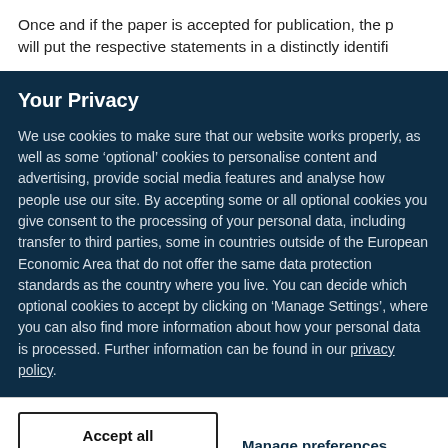Once and if the paper is accepted for publication, the p will put the respective statements in a distinctly identifi
Your Privacy
We use cookies to make sure that our website works properly, as well as some ‘optional’ cookies to personalise content and advertising, provide social media features and analyse how people use our site. By accepting some or all optional cookies you give consent to the processing of your personal data, including transfer to third parties, some in countries outside of the European Economic Area that do not offer the same data protection standards as the country where you live. You can decide which optional cookies to accept by clicking on ‘Manage Settings’, where you can also find more information about how your personal data is processed. Further information can be found in our privacy policy.
Accept all cookies
Manage preferences